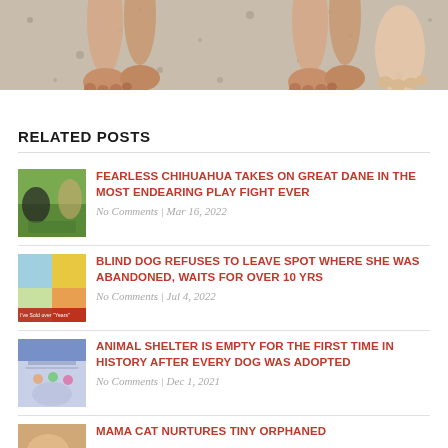[Figure (photo): Close-up of dog paws/legs on a speckled gray concrete floor]
RELATED POSTS
[Figure (photo): Chihuahua and Great Dane playing on grass]
FEARLESS CHIHUAHUA TAKES ON GREAT DANE IN THE MOST ENDEARING PLAY FIGHT EVER
No Comments | Mar 16, 2022
[Figure (photo): Blind dog at the spot where she was abandoned]
BLIND DOG REFUSES TO LEAVE SPOT WHERE SHE WAS ABANDONED, WAITS FOR OVER 10 YRS
No Comments | Jul 4, 2022
[Figure (photo): Empty animal shelter hallway after all dogs were adopted]
ANIMAL SHELTER IS EMPTY FOR THE FIRST TIME IN HISTORY AFTER EVERY DOG WAS ADOPTED
No Comments | Dec 1, 2021
[Figure (photo): Mama cat nurturing tiny orphaned kittens]
MAMA CAT NURTURES TINY ORPHANED